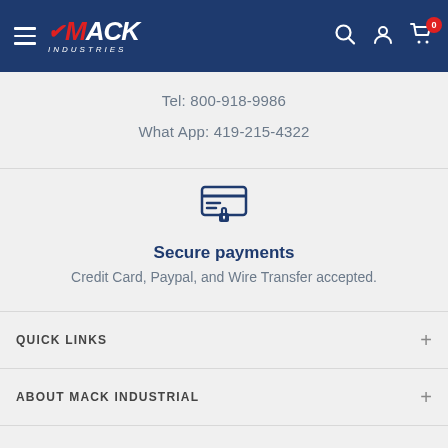Mack Industrial — navigation header with logo, search, account, and cart icons
Tel: 800-918-9986
What App: 419-215-4322
[Figure (illustration): Secure payment icon: credit card with lock symbol, in navy blue]
Secure payments
Credit Card, Paypal, and Wire Transfer accepted.
QUICK LINKS
ABOUT MACK INDUSTRIAL